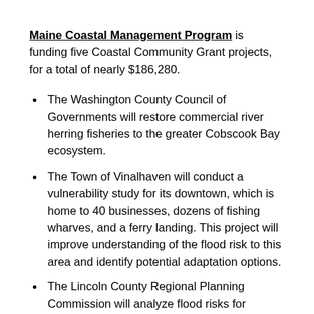Maine Coastal Management Program is funding five Coastal Community Grant projects, for a total of nearly $186,280.
The Washington County Council of Governments will restore commercial river herring fisheries to the greater Cobscook Bay ecosystem.
The Town of Vinalhaven will conduct a vulnerability study for its downtown, which is home to 40 businesses, dozens of fishing wharves, and a ferry landing. This project will improve understanding of the flood risk to this area and identify potential adaptation options.
The Lincoln County Regional Planning Commission will analyze flood risks for commercial and governmental structures in downtown Boothbay Harbor and provide recommendations to improve flood resiliency and raise